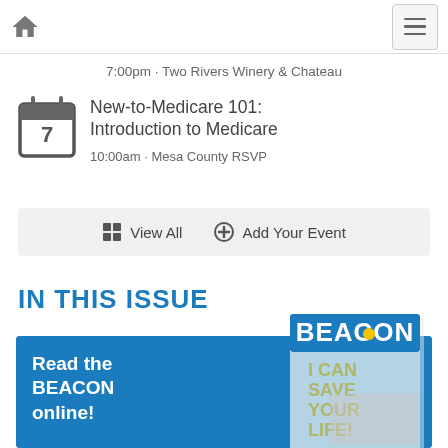Home | Menu
7:00pm · Two Rivers Winery & Chateau
New-to-Medicare 101: Introduction to Medicare
10:00am · Mesa County RSVP
View All  Add Your Event
IN THIS ISSUE
[Figure (illustration): Read the BEACON online! banner with BEACON magazine cover showing 'I CAN SAVE YOUR LIFE!' headline and paramedic scene]